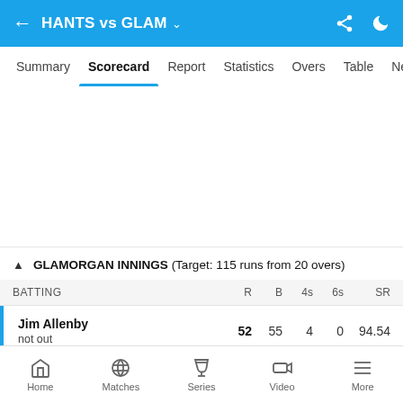HANTS vs GLAM
Summary | Scorecard | Report | Statistics | Overs | Table | New
GLAMORGAN INNINGS (Target: 115 runs from 20 overs)
| BATTING | R | B | 4s | 6s | SR |
| --- | --- | --- | --- | --- | --- |
| Jim Allenby
not out | 52 | 55 | 4 | 0 | 94.54 |
Home | Matches | Series | Video | More